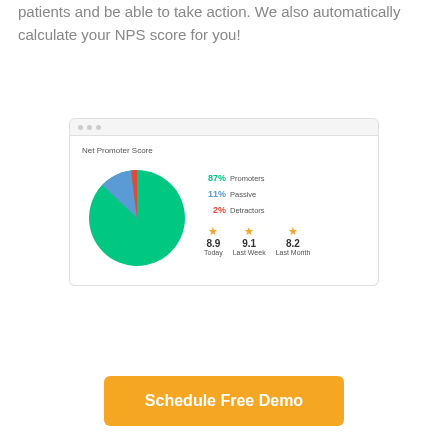patients and be able to take action. We also automatically calculate your NPS score for you!
[Figure (screenshot): Browser screenshot showing a Net Promoter Score dashboard with a pie chart (87% Promoters green, 11% Passive blue, 2% Detractors red) and stats showing Today: 8.9, Last Week: 9.1, Last Month: 8.2]
Schedule Free Demo